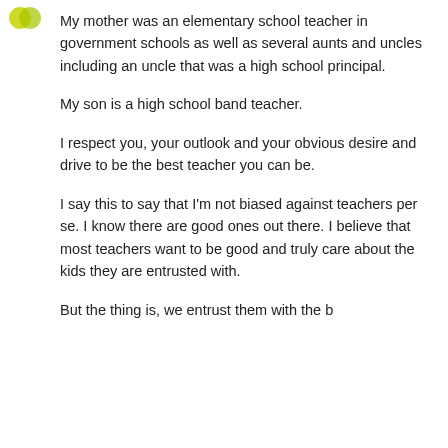[Figure (logo): Small yellow-green circular logo/icon in top left corner]
My mother was an elementary school teacher in government schools as well as several aunts and uncles including an uncle that was a high school principal.
My son is a high school band teacher.
I respect you, your outlook and your obvious desire and drive to be the best teacher you can be.
I say this to say that I'm not biased against teachers per se. I know there are good ones out there. I believe that most teachers want to be good and truly care about the kids they are entrusted with.
Partial text cut off at bottom of page